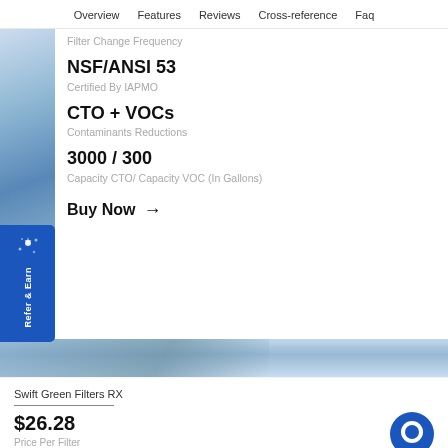Overview  Features  Reviews  Cross-reference  Faq
Filter Change Frequency
NSF/ANSI 53
Certified By IAPMO
CTO + VOCs
Contaminants Reductions
3000 / 300
Capacity CTO/ Capacity VOC (In Gallons)
Buy Now →
Refer & Earn
Swift Green Filters RX
$26.28
Price Per Filter